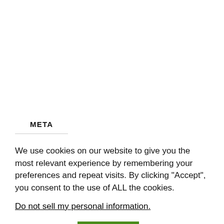META
We use cookies on our website to give you the most relevant experience by remembering your preferences and repeat visits. By clicking "Accept", you consent to the use of ALL the cookies.
Do not sell my personal information.
Cookie settings   ACCEPT